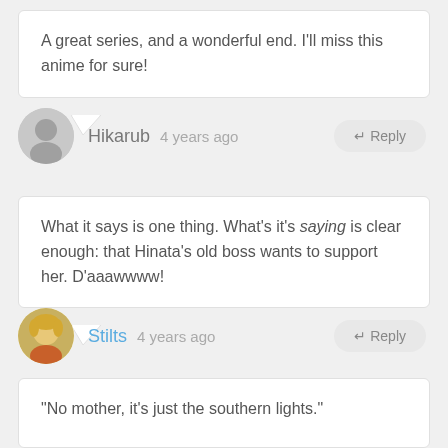A great series, and a wonderful end. I'll miss this anime for sure!
Hikarub  4 years ago
What it says is one thing. What's it's saying is clear enough: that Hinata's old boss wants to support her. D'aaawwww!
Stilts  4 years ago
“No mother, it’s just the southern lights.”

What a great show this was. After all this time with the cast, it’s hard to walk away from it, but I wouldn’t have it any other way. Getting to know and understand the girls’ motivations, desires, and struggles was really hard-hitting on an emotional level, but